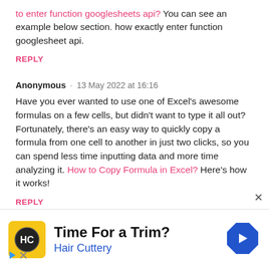to enter function googlesheets api? You can see an example below section. how exactly enter function googlesheet api.
REPLY
Anonymous · 13 May 2022 at 16:16
Have you ever wanted to use one of Excel's awesome formulas on a few cells, but didn't want to type it all out? Fortunately, there's an easy way to quickly copy a formula from one cell to another in just two clicks, so you can spend less time inputting data and more time analyzing it. How to Copy Formula in Excel? Here's how it works!
REPLY
[Figure (infographic): Advertisement banner for Hair Cuttery: yellow square icon with HC logo, text 'Time For a Trim?' in bold black, 'Hair Cuttery' in blue, blue diamond navigation arrow icon on the right.]